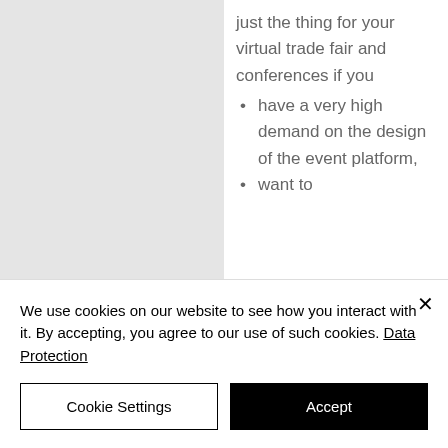[Figure (photo): Gray placeholder image panel on the left side of the page]
just the thing for your virtual trade fair and conferences if you
have a very high demand on the design of the event platform,
want to
We use cookies on our website to see how you interact with it. By accepting, you agree to our use of such cookies. Data Protection
Cookie Settings
Accept